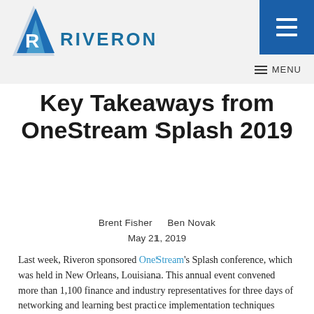RIVERON
Key Takeaways from OneStream Splash 2019
Brent Fisher    Ben Novak
May 21, 2019
Last week, Riveron sponsored OneStream's Splash conference, which was held in New Orleans, Louisiana. This annual event convened more than 1,100 finance and industry representatives for three days of networking and learning best practice implementation techniques